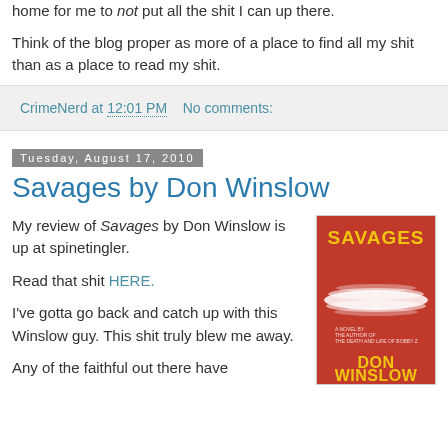home for me to not put all the shit I can up there.
Think of the blog proper as more of a place to find all my shit than as a place to read my shit.
CrimeNerd at 12:01 PM   No comments:
Tuesday, August 17, 2010
Savages by Don Winslow
My review of Savages by Don Winslow is up at spinetingler.
Read that shit HERE.
[Figure (illustration): Book cover of Savages by Don Winslow — red background with white blurred motion graphic, yellow title text SAVAGES at top, DON WINSLOW at bottom in large yellow letters]
I've gotta go back and catch up with this Winslow guy. This shit truly blew me away.
Any of the faithful out there have